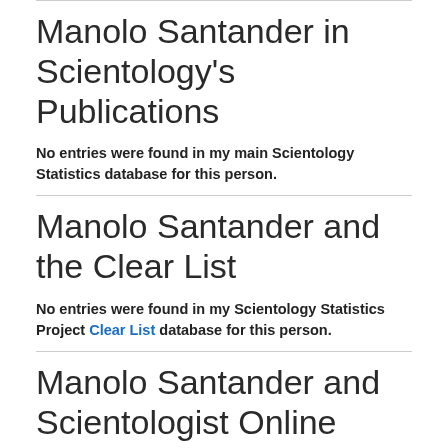Manolo Santander in Scientology's Publications
No entries were found in my main Scientology Statistics database for this person.
Manolo Santander and the Clear List
No entries were found in my Scientology Statistics Project Clear List database for this person.
Manolo Santander and Scientologist Online Sites
My database does not list a Scientologist Online cookie-cutter web site for this person.